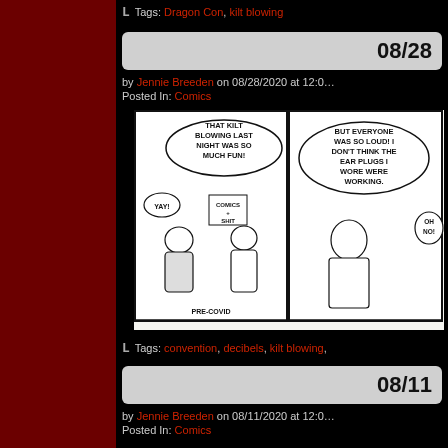Tags: Dragon Con, kilt blowing
08/28
by Jennie Breeden on 08/28/2020 at 12:00
Posted In: Comics
[Figure (illustration): A two-panel black and white comic strip. Left panel: Two characters at a Comics + Shit booth, one saying 'THAT KILT BLOWING LAST NIGHT WAS SO MUCH FUN!' with 'YAY!' bubble, labeled PRE-COVID. Right panel: A woman with wide eyes saying 'BUT EVERYONE WAS SO LOUD! I DON'T THINK THE EAR PLUGS I WORE WERE WORKING.' with 'OH NO!' response.]
Tags: convention, decibels, kilt blowing,
08/11
by Jennie Breeden on 08/11/2020 at 12:00
Posted In: Comics